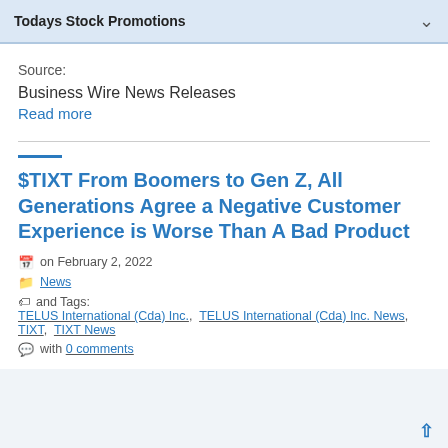Todays Stock Promotions
Source:
Business Wire News Releases
Read more
$TIXT From Boomers to Gen Z, All Generations Agree a Negative Customer Experience is Worse Than A Bad Product
on February 2, 2022
News
and Tags: TELUS International (Cda) Inc., TELUS International (Cda) Inc. News, TIXT, TIXT News
with 0 comments